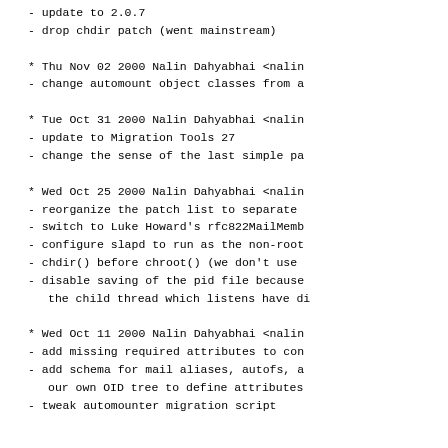- update to 2.0.7
- drop chdir patch (went mainstream)
* Thu Nov 02 2000 Nalin Dahyabhai <nalin
- change automount object classes from a
* Tue Oct 31 2000 Nalin Dahyabhai <nalin
- update to Migration Tools 27
- change the sense of the last simple pa
* Wed Oct 25 2000 Nalin Dahyabhai <nalin
- reorganize the patch list to separate
- switch to Luke Howard's rfc822MailMemb
- configure slapd to run as the non-root
- chdir() before chroot() (we don't use
- disable saving of the pid file because
the child thread which listens have di
* Wed Oct 11 2000 Nalin Dahyabhai <nalin
- add missing required attributes to con
- add schema for mail aliases, autofs, a
our own OID tree to define attributes
- tweak automounter migration script